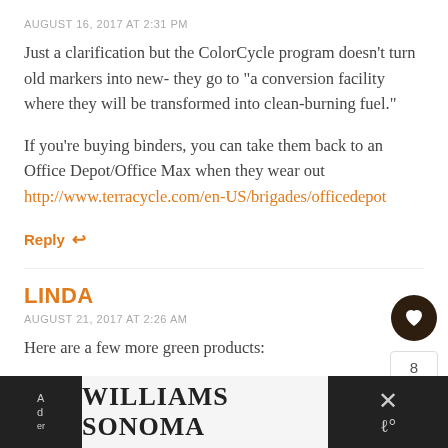AUGUST 16, 2017 AT 2:31 PM
Just a clarification but the ColorCycle program doesn't turn old markers into new- they go to "a conversion facility where they will be transformed into clean-burning fuel."
If you're buying binders, you can take them back to an Office Depot/Office Max when they wear out http://www.terracycle.com/en-US/brigades/officedepot
Reply ↩
LINDA
AUGUST 21, 2017 AT 2:26 AM
Here are a few more green products:
[Figure (other): Advertisement banner for Williams Sonoma at the bottom of the page, dark background on sides with white center containing the Williams Sonoma logo text.]